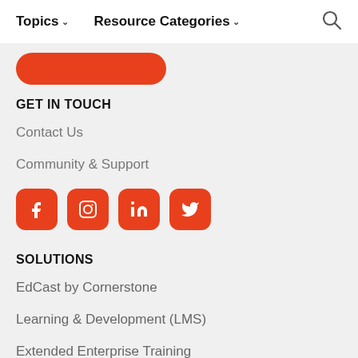Topics ▾   Resource Categories ▾   🔍
[Figure (other): Partially visible red rounded button at top of page]
GET IN TOUCH
Contact Us
Community & Support
[Figure (other): Four orange/red rounded square social media icons: Facebook, Instagram, LinkedIn, Twitter]
SOLUTIONS
EdCast by Cornerstone
Learning & Development (LMS)
Extended Enterprise Training
Skills Graph/Skills Ontology